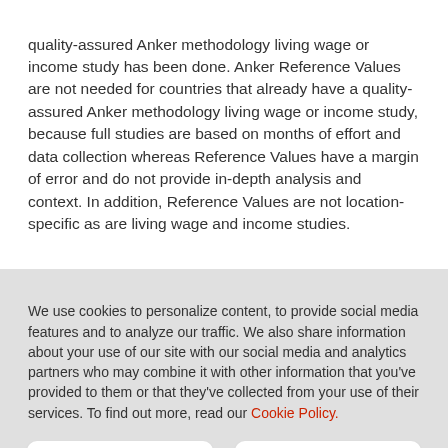quality-assured Anker methodology living wage or income study has been done. Anker Reference Values are not needed for countries that already have a quality-assured Anker methodology living wage or income study, because full studies are based on months of effort and data collection whereas Reference Values have a margin of error and do not provide in-depth analysis and context. In addition, Reference Values are not location-specific as are living wage and income studies.
We use cookies to personalize content, to provide social media features and to analyze our traffic. We also share information about your use of our site with our social media and analytics partners who may combine it with other information that you've provided to them or that they've collected from your use of their services. To find out more, read our Cookie Policy.
Disable Cookies
Accept Cookies